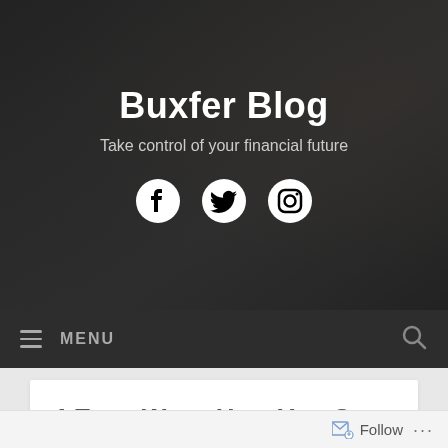Buxfer Blog
Take control of your financial future
[Figure (illustration): Social media icons: Facebook, Twitter, Instagram in white circles on dark hero background]
≡ MENU
4 Easy Ways How You Can Get Started Investing
Follow